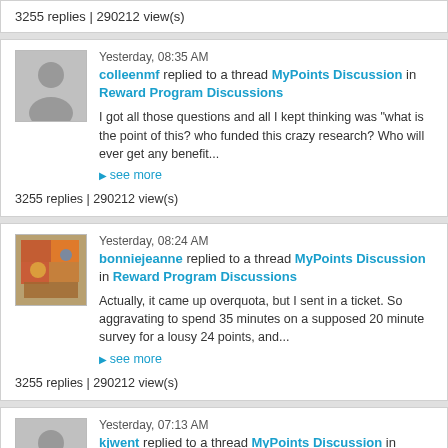3255 replies | 290212 view(s)
Yesterday, 08:35 AM
colleenmf replied to a thread MyPoints Discussion in Reward Program Discussions
I got all those questions and all I kept thinking was "what is the point of this? who funded this crazy research? Who will ever get any benefit...
▶ see more
3255 replies | 290212 view(s)
Yesterday, 08:24 AM
bonniejeanne replied to a thread MyPoints Discussion in Reward Program Discussions
Actually, it came up overquota, but I sent in a ticket. So aggravating to spend 35 minutes on a supposed 20 minute survey for a lousy 24 points, and...
▶ see more
3255 replies | 290212 view(s)
Yesterday, 07:13 AM
kjwent replied to a thread MyPoints Discussion in Reward Program Discussions
That political survey question is pretty funny -- I hope you got points